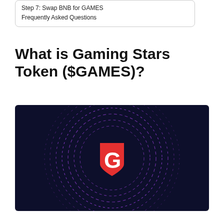Step 7: Swap BNB for GAMES
Frequently Asked Questions
What is Gaming Stars Token ($GAMES)?
[Figure (logo): Gaming Stars Token logo on dark navy background with purple concentric circular rings and a red shield-shaped G icon in the center]